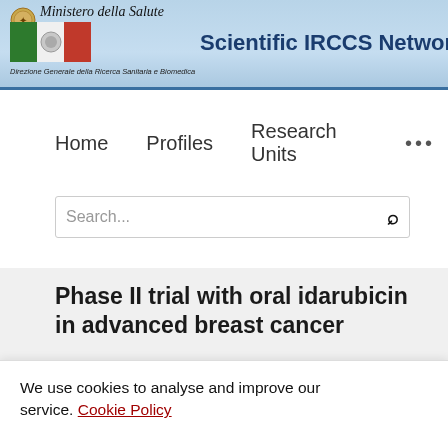Scientific IRCCS Network — Ministero della Salute — Direzione Generale della Ricerca Sanitaria e Biomedica
Home   Profiles   Research Units   ...
Search...
Phase II trial with oral idarubicin in advanced breast cancer
Massimo Lopez, Luigi Di Lauro, Paola Papaldo, Bonaventura
We use cookies to analyse and improve our service. Cookie Policy